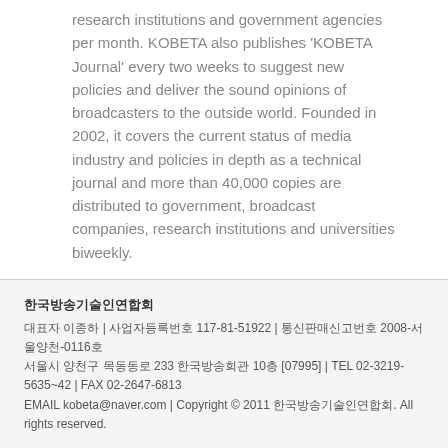research institutions and government agencies per month. KOBETA also publishes 'KOBETA Journal' every two weeks to suggest new policies and deliver the sound opinions of broadcasters to the outside world. Founded in 2002, it covers the current status of media industry and policies in depth as a technical journal and more than 40,000 copies are distributed to government, broadcast companies, research institutions and universities biweekly.
한국방송기술인연합회
대표자 이종하 | 사업자등록번호 117-81-51922 | 통신판매신고번호 2008-서울양천-0116호
서울시 양천구 목동동로 233 한국방송회관 10층 [07995] | TEL 02-3219-5635~42 | FAX 02-2647-6813
EMAIL kobeta@naver.com | Copyright © 2011 한국방송기술인연합회. All rights reserved.